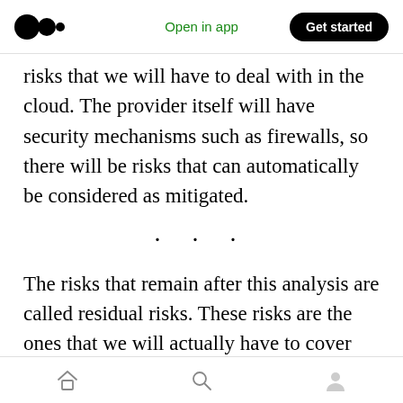Medium logo | Open in app | Get started
risks that we will have to deal with in the cloud. The provider itself will have security mechanisms such as firewalls, so there will be risks that can automatically be considered as mitigated.
· · ·
The risks that remain after this analysis are called residual risks. These risks are the ones that we will actually have to cover with compensatory measures such as data encryption on the disks managed by the cloud provider.
Home | Search | Profile